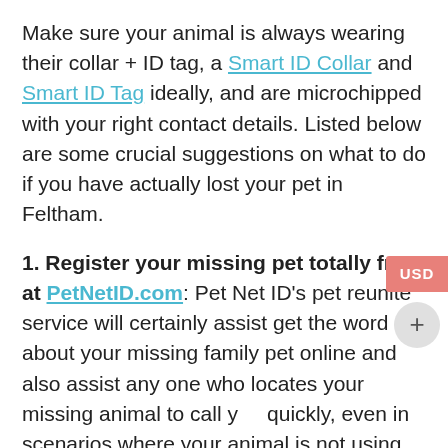Make sure your animal is always wearing their collar + ID tag, a Smart ID Collar and Smart ID Tag ideally, and are microchipped with your right contact details. Listed below are some crucial suggestions on what to do if you have actually lost your pet in Feltham.
1. Register your missing pet totally free at PetNetID.com: Pet Net ID's pet reunite service will certainly assist get the word out about your missing family pet online and also assist any one who locates your missing animal to call you quickly, even in scenarios where your animal is not using a pet ID tag, pet collar or doesn't have a microchip!
2. Browse around Feltham, Hounslow right away: Sitting around awaiting your animal to come home will certainly not do a lot. Go looking in Feltham and also the spot where your family pet was last seen.
3. Get in touch with community pet rescue Feltham Hounslow organisations: Look on Google for phrases like: